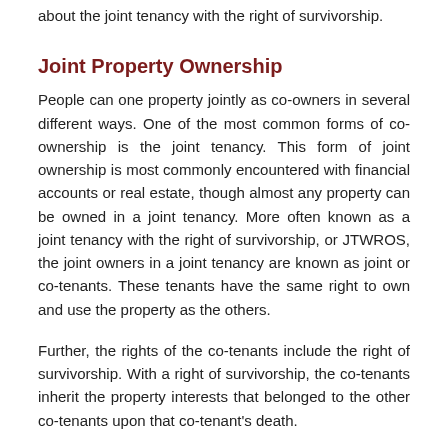about the joint tenancy with the right of survivorship.
Joint Property Ownership
People can one property jointly as co-owners in several different ways. One of the most common forms of co-ownership is the joint tenancy. This form of joint ownership is most commonly encountered with financial accounts or real estate, though almost any property can be owned in a joint tenancy. More often known as a joint tenancy with the right of survivorship, or JTWROS, the joint owners in a joint tenancy are known as joint or co-tenants. These tenants have the same right to own and use the property as the others.
Further, the rights of the co-tenants include the right of survivorship. With a right of survivorship, the co-tenants inherit the property interests that belonged to the other co-tenants upon that co-tenant's death.
For example, let's say that you and your two brothers inherit